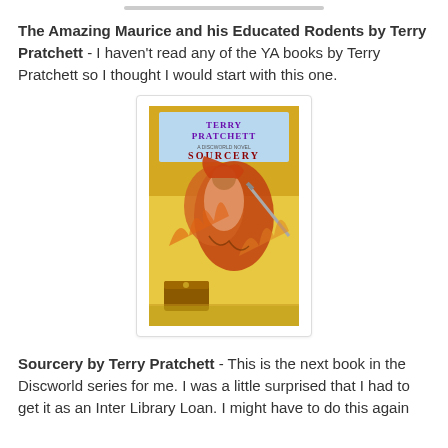The Amazing Maurice and his Educated Rodents by Terry Pratchett - I haven't read any of the YA books by Terry Pratchett so I thought I would start with this one.
[Figure (illustration): Book cover of 'Sourcery' by Terry Pratchett, a Discworld Novel. The cover shows a fantasy scene with a warrior figure amid dramatic action, colorful illustration with yellow, red, and orange tones. The title 'SOURCERY' and author name 'TERRY PRATCHETT' appear at the top with the subtitle 'A DISCWORLD NOVEL'.]
Sourcery by Terry Pratchett - This is the next book in the Discworld series for me. I was a little surprised that I had to get it as an Inter Library Loan. I might have to do this again